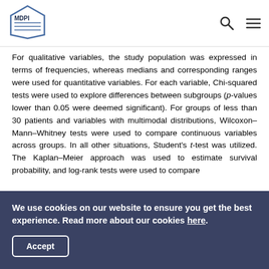MDPI
For qualitative variables, the study population was expressed in terms of frequencies, whereas medians and corresponding ranges were used for quantitative variables. For each variable, Chi-squared tests were used to explore differences between subgroups (p-values lower than 0.05 were deemed significant). For groups of less than 30 patients and variables with multimodal distributions, Wilcoxon–Mann–Whitney tests were used to compare continuous variables across groups. In all other situations, Student's t-test was utilized. The Kaplan–Meier approach was used to estimate survival probability, and log-rank tests were used to compare
We use cookies on our website to ensure you get the best experience. Read more about our cookies here.
Accept